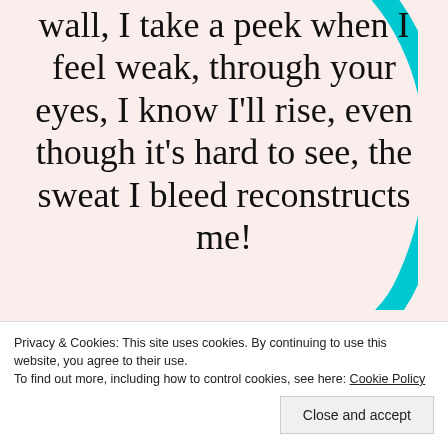[Figure (illustration): Cyan/turquoise arc decorative curve overlaid on poem text background]
wall, I take a peek when I feel weak, through your eyes, I know I'll rise, even though it's hard to see, the sweat I bleed reconstructs me!
Privacy & Cookies: This site uses cookies. By continuing to use this website, you agree to their use.
To find out more, including how to control cookies, see here: Cookie Policy
Close and accept